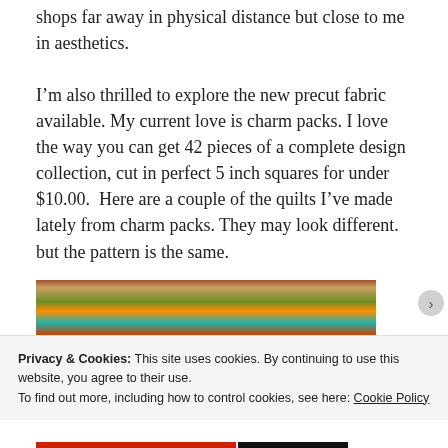shops far away in physical distance but close to me in aesthetics.
I’m also thrilled to explore the new precut fabric available. My current love is charm packs. I love the way you can get 42 pieces of a complete design collection, cut in perfect 5 inch squares for under $10.00.  Here are a couple of the quilts I’ve made lately from charm packs. They may look different. but the pattern is the same.
[Figure (photo): Photo of colorful quilts hanging against a brick wall, showing vibrant patterned fabrics in various colors including orange, green, teal, and red.]
Privacy & Cookies: This site uses cookies. By continuing to use this website, you agree to their use.
To find out more, including how to control cookies, see here: Cookie Policy
Close and accept